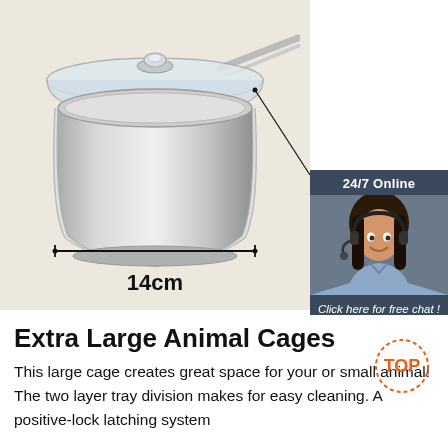[Figure (photo): Stainless steel saucepan with glass lid and handle, shown on beige background with 14cm measurement indicator]
[Figure (photo): 24/7 Online chat widget with customer service agent (woman with headset) and orange QUOTATION button]
Extra Large Animal Cages
This large cage creates great space for your or small animal! The two layer tray division makes for easy cleaning. A positive-lock latching system
[Figure (logo): TOP circular dotted badge in orange]